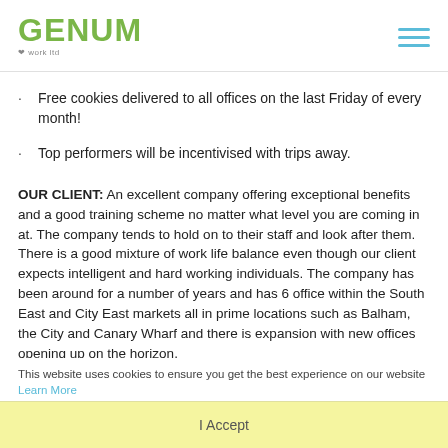GENUM
Free cookies delivered to all offices on the last Friday of every month!
Top performers will be incentivised with trips away.
OUR CLIENT: An excellent company offering exceptional benefits and a good training scheme no matter what level you are coming in at. The company tends to hold on to their staff and look after them. There is a good mixture of work life balance even though our client expects intelligent and hard working individuals. The company has been around for a number of years and has 6 office within the South East and City East markets all in prime locations such as Balham, the City and Canary Wharf and there is expansion with new offices opening up on the horizon.
This website uses cookies to ensure you get the best experience on our website Learn More
I Accept